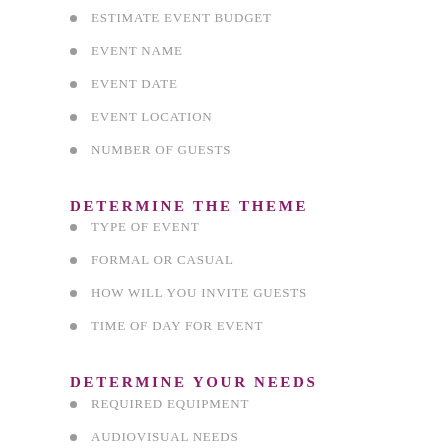ESTIMATE EVENT BUDGET
EVENT NAME
EVENT DATE
EVENT LOCATION
NUMBER OF GUESTS
DETERMINE THE THEME
TYPE OF EVENT
FORMAL OR CASUAL
HOW WILL YOU INVITE GUESTS
TIME OF DAY FOR EVENT
DETERMINE YOUR NEEDS
REQUIRED EQUIPMENT
AUDIOVISUAL NEEDS